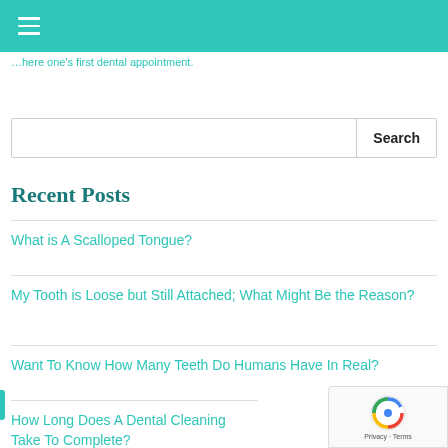≡
…here one's first dental appointment.
Search
Recent Posts
What is A Scalloped Tongue?
My Tooth is Loose but Still Attached; What Might Be the Reason?
Want To Know How Many Teeth Do Humans Have In Real?
How Long Does A Dental Cleaning Take To Complete?